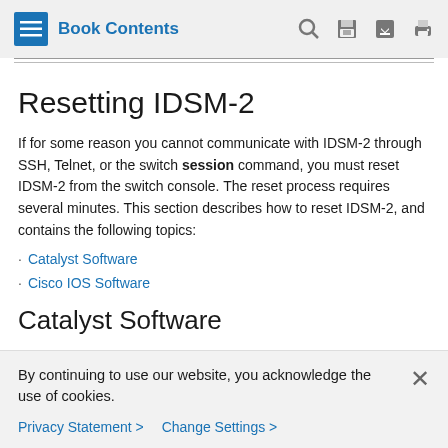Book Contents
Resetting IDSM-2
If for some reason you cannot communicate with IDSM-2 through SSH, Telnet, or the switch session command, you must reset IDSM-2 from the switch console. The reset process requires several minutes. This section describes how to reset IDSM-2, and contains the following topics:
Catalyst Software
Cisco IOS Software
Catalyst Software
By continuing to use our website, you acknowledge the use of cookies.
Privacy Statement > Change Settings >